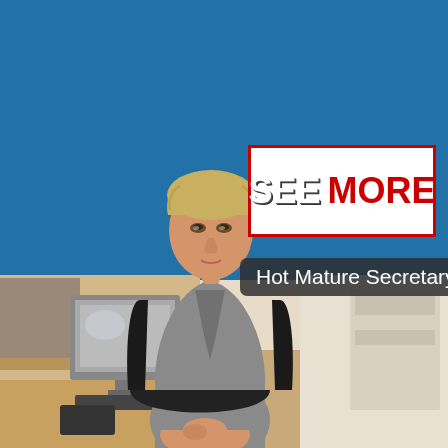[Figure (photo): A woman in a grey blazer seated in an office chair at a desk with a computer monitor, bookshelves in background. Blue banner overlaid at top of image.]
SEE MORE
Hot Mature Secretary